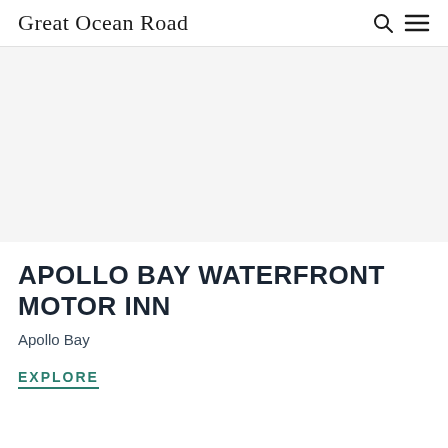Great Ocean Road
[Figure (photo): White/blank image area representing a property photo placeholder]
APOLLO BAY WATERFRONT MOTOR INN
Apollo Bay
EXPLORE